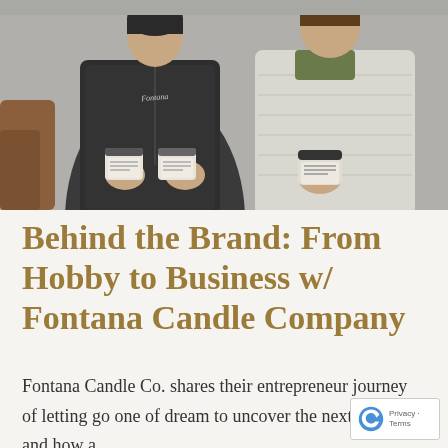[Figure (photo): Two people standing side by side holding candle jars. The person on the left wears a dark fleece zip-up with 'Fontana' text on the chest and holds two candle jars. The person on the right wears a light gray quilted jacket and holds one candle jar. Background is a neutral gray wall.]
Behind the Brand: From Hobby to Business w/ Fontana Candle Company
Fontana Candle Co. shares their entrepreneur journey of letting go one of dream to uncover the next one and how a